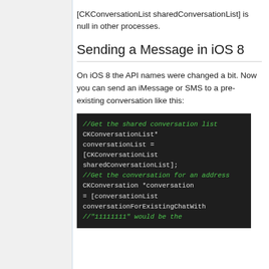[CKConversationList sharedConversationList] is null in other processes.
Sending a Message in iOS 8
On iOS 8 the API names were changed a bit. Now you can send an iMessage or SMS to a pre-existing conversation like this:
[Figure (screenshot): Dark-themed code block showing Objective-C code to get the shared conversation list and get the conversation for an address using CKConversationList and CKConversation APIs.]